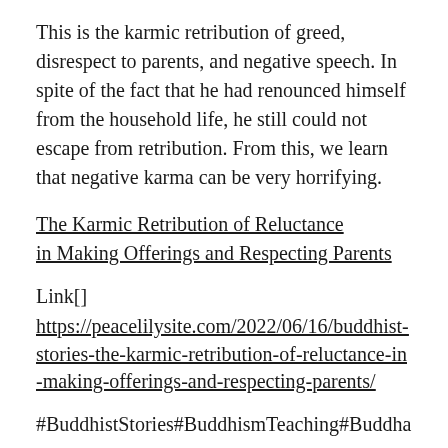This is the karmic retribution of greed, disrespect to parents, and negative speech. In spite of the fact that he had renounced himself from the household life, he still could not escape from retribution. From this, we learn that negative karma can be very horrifying.
The Karmic Retribution of Reluctance in Making Offerings and Respecting Parents
Link[]
https://peacelilysite.com/2022/06/16/buddhist-stories-the-karmic-retribution-of-reluctance-in-making-offerings-and-respecting-parents/
#BuddhistStories#BuddhismTeaching#Buddha